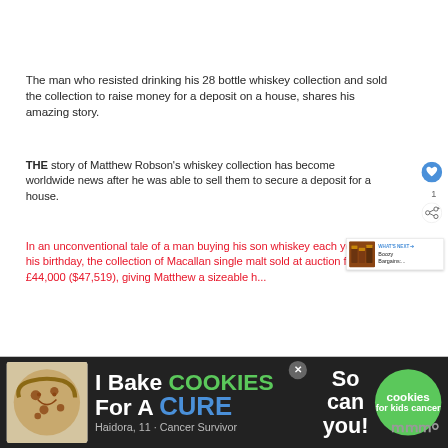The man who resisted drinking his 28 bottle whiskey collection and sold the collection to raise money for a deposit on a house, shares his amazing story.
THE story of Matthew Robson's whiskey collection has become worldwide news after he was able to sell them to secure a deposit for a house.
In an unconventional tale of a man buying his son whiskey each year for his birthday, the collection of Macallan single malt sold at auction for £44,000 ($47,519), giving Matthew a sizeable h...
[Figure (screenshot): UI overlay elements: heart/like button (blue circle with heart icon), share button, count '1', 'WHAT'S NEXT' panel showing 'Boozy Bargains:...', and a cookie fundraiser ad banner at the bottom]